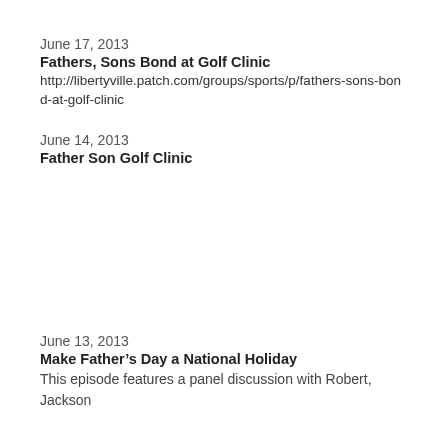June 17, 2013
Fathers, Sons Bond at Golf Clinic
http://libertyville.patch.com/groups/sports/p/fathers-sons-bond-at-golf-clinic
June 14, 2013
Father Son Golf Clinic
June 13, 2013
Make Father’s Day a National Holiday
This episode features a panel discussion with Robert, Jackson